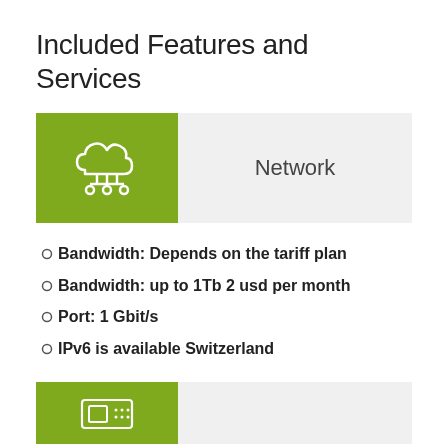Included Features and Services
[Figure (infographic): Green square icon with a white cloud/network icon, next to a grey label area reading 'Network']
Bandwidth: Depends on the tariff plan
Bandwidth: up to 1Tb 2 usd per month
Port: 1 Gbit/s
IPv6 is available Switzerland
[Figure (infographic): Green square icon with a white server/hardware icon, partially visible at the bottom]